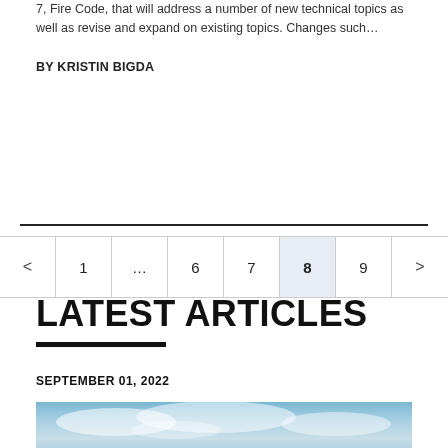7, Fire Code, that will address a number of new technical topics as well as revise and expand on existing topics.  Changes such…
BY KRISTIN BIGDA
[Figure (other): Pagination navigation showing pages: < 1 ... 6 7 8 (active) 9 >]
LATEST ARTICLES
SEPTEMBER 01, 2022
[Figure (photo): Article thumbnail image showing blue sky and clouds]